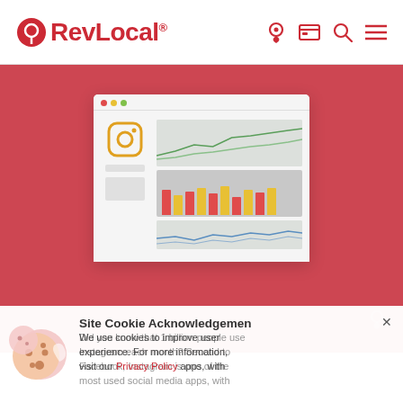RevLocal® — navigation header with logo and icons
[Figure (illustration): Red hero banner with a browser mockup showing Instagram analytics dashboard with line charts and bar charts]
[Figure (illustration): Cookie acknowledgement popup overlay with cookie emoji image, title 'Site Cookie Acknowledgement', close button X, and overlapping text about 1 billion Instagram users and cookie policy notice]
Did you know that 1 billion people use Instagram each month? Second to Facebook, Instagram is one of the most used social media apps, with
We use cookies to improve user experience. For more information, visit our Privacy Policy